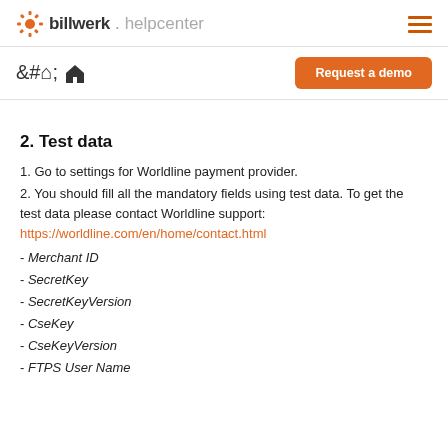billwerk.helpcenter
[Figure (logo): billwerk helpcenter logo with orange gear icon]
Request a demo
2. Test data
1. Go to settings for Worldline payment provider.
2. You should fill all the mandatory fields using test data. To get the test data please contact Worldline support: https://worldline.com/en/home/contact.html
- Merchant ID
- SecretKey
- SecretKeyVersion
- CseKey
- CseKeyVersion
- FTPS User Name